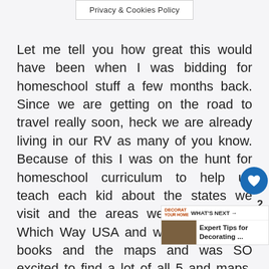Privacy & Cookies Policy
Let me tell you how great this would have been when I was bidding for homeschool stuff a few months back. Since we are getting on the road to travel really soon, heck we are already living in our RV as many of you know. Because of this I was on the hunt for homeschool curriculum to help us teach each kid about the states we visit and the areas we visit. I found Which Way USA and wanted both the books and the maps and was SO excited to find a lot of all 5 and maps. I was bidding and was winning until the last 2 minutes then there was a